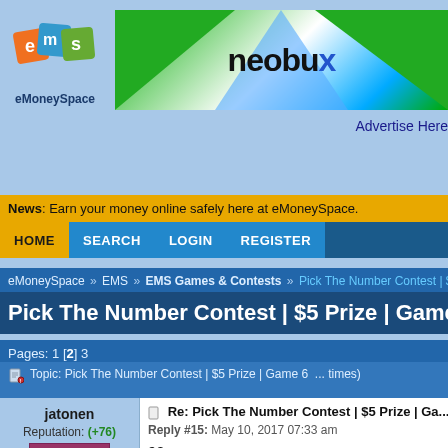[Figure (logo): eMoneySpace logo with colored diamond tiles (orange, blue, green) and letters e, m, s]
[Figure (logo): Neobux advertisement banner with green, white, and blue diagonal design and neobux text]
Advertise Here
News: Earn your money online safely here at eMoneySpace.
HOME | SEARCH | LOGIN | REGISTER
eMoneySpace » EMS » EMS Games & Contests » Pick The Number Contest | $5 Pri...
Pick The Number Contest | $5 Prize | Game 6 | Ver 2k1...
Pages: 1 [2] 3
Author | Topic: Pick The Number Contest | $5 Prize | Game 6 ... times)
jatonen
Reputation: (+76)
EMS ELITE
Offline
Re: Pick The Number Contest | $5 Prize | Ga...
Reply #15: May 10, 2017 07:33 am
92